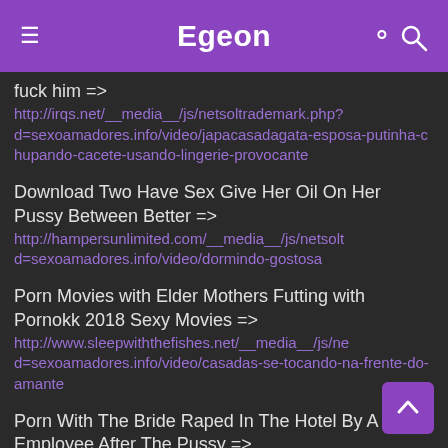Egeon
fuck him => http://irqs.net/__media__/js/netsoltrademark.php?d=sexoamadores.info/video/japacasadagata-esposa-putinha-chupando-cacete-usando-lingerie-provocante
Download Two Have Sex Give Her Oil On Her Pussy Between Better => http://hampersunlimited.com/__media__/js/netsoltrademark.php?d=sexoamadores.info/video/dormindo-gostosa
Porn Movies with Elder Mothers Futting with Pornokk 2018 Sexy Movies => http://www.sleepwiththefishes.net/__media__/js/netsoltrademark.php?d=sexoamadores.info/video/casadas-se-tocando-na-frente-do-amante
Porn With The Bride Raped In The Hotel By A Dead Employee After The Pussy => http://msiinsurancegroup.biz/__media__/js/netsoltrademark.php?d=sexoamadores.info/video/amador-novinha-